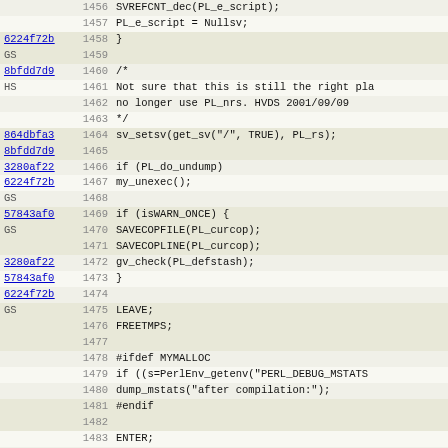[Figure (screenshot): Source code viewer showing C/Perl source lines 1456-1487 with commit hash annotations in left column, line numbers in middle column, and code content in right column. Background alternates light beige/white per row.]